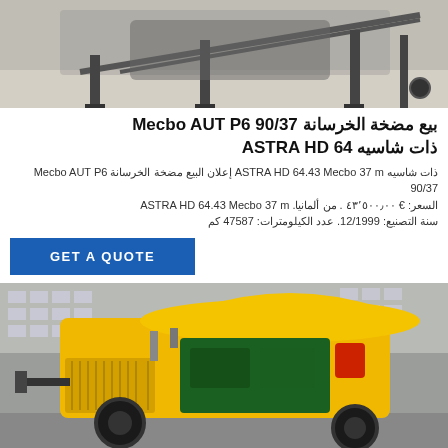[Figure (photo): Construction equipment / concrete pump truck parked on a ground, viewed from above/front, grey industrial background]
بيع مضخة الخرسانة Mecbo AUT P6 90/37 ذات شاسيه ASTRA HD 64
إعلان البيع مضخة الخرسانة Mecbo AUT P6 90/37 ذات شاسيه ASTRA HD 64.43 Mecbo 37 m . € ٤٣٬٥٠٠٫٠٠ :السعر من ألمانيا. سنة التصنيع: 12/1999. عدد الكيلومترات: 47587 كم
GET A QUOTE
[Figure (photo): Yellow concrete pump machine (Mecbo) with green engine, black wheels, parked in front of a building]
Send Message
Inquiry Online